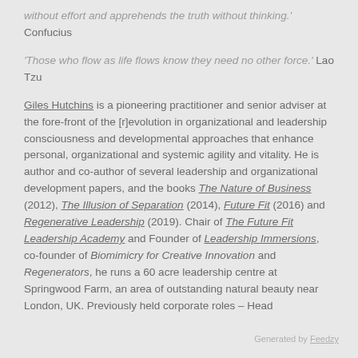without effort and apprehends the truth without thinking.' Confucius
'Those who flow as life flows know they need no other force.' Lao Tzu
Giles Hutchins is a pioneering practitioner and senior adviser at the fore-front of the [r]evolution in organizational and leadership consciousness and developmental approaches that enhance personal, organizational and systemic agility and vitality. He is author and co-author of several leadership and organizational development papers, and the books The Nature of Business (2012), The Illusion of Separation (2014), Future Fit (2016) and Regenerative Leadership (2019). Chair of The Future Fit Leadership Academy and Founder of Leadership Immersions, co-founder of Biomimicry for Creative Innovation and Regenerators, he runs a 60 acre leadership centre at Springwood Farm, an area of outstanding natural beauty near London, UK. Previously held corporate roles – Head